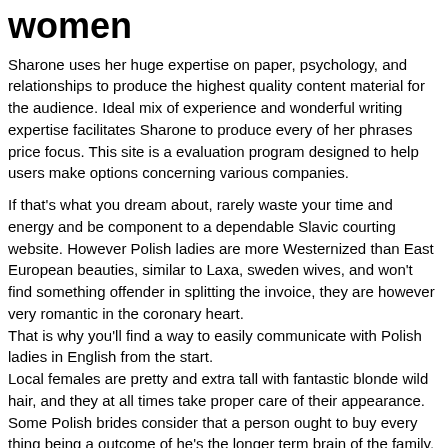women
Sharone uses her huge expertise on paper, psychology, and relationships to produce the highest quality content material for the audience. Ideal mix of experience and wonderful writing expertise facilitates Sharone to produce every of her phrases price focus. This site is a evaluation program designed to help users make options concerning various companies.
If that's what you dream about, rarely waste your time and energy and be component to a dependable Slavic courting website. However Polish ladies are more Westernized than East European beauties, similar to Laxa, sweden wives, and won't find something offender in splitting the invoice, they are however very romantic in the coronary heart.
That is why you'll find a way to easily communicate with Polish ladies in English from the start.
Local females are pretty and extra tall with fantastic blonde wild hair, and they at all times take proper care of their appearance.
Some Polish brides consider that a person ought to buy every thing being a outcome of he's the longer term brain of the family.
We deliver consideration to relationship site evaluations as well as